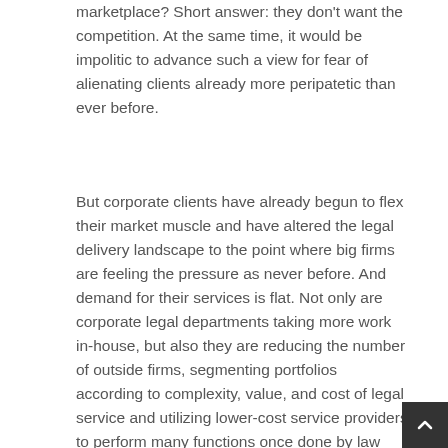marketplace? Short answer: they don't want the competition. At the same time, it would be impolitic to advance such a view for fear of alienating clients already more peripatetic than ever before.
But corporate clients have already begun to flex their market muscle and have altered the legal delivery landscape to the point where big firms are feeling the pressure as never before. And demand for their services is flat. Not only are corporate legal departments taking more work in-house, but also they are reducing the number of outside firms, segmenting portfolios according to complexity, value, and cost of legal service and utilizing lower-cost service providers to perform many functions once done by law firms. And some, like AIG, have spun off segments of their